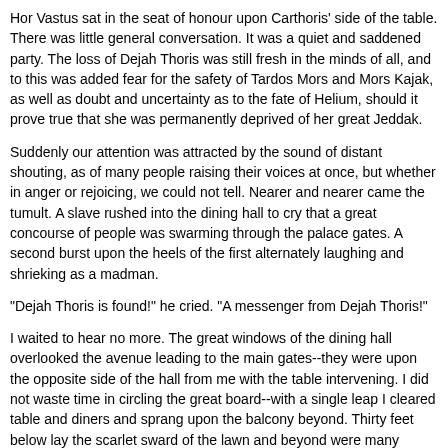Hor Vastus sat in the seat of honour upon Carthoris' side of the table. There was little general conversation. It was a quiet and saddened party. The loss of Dejah Thoris was still fresh in the minds of all, and to this was added fear for the safety of Tardos Mors and Mors Kajak, as well as doubt and uncertainty as to the fate of Helium, should it prove true that she was permanently deprived of her great Jeddak.
Suddenly our attention was attracted by the sound of distant shouting, as of many people raising their voices at once, but whether in anger or rejoicing, we could not tell. Nearer and nearer came the tumult. A slave rushed into the dining hall to cry that a great concourse of people was swarming through the palace gates. A second burst upon the heels of the first alternately laughing and shrieking as a madman.
"Dejah Thoris is found!" he cried. "A messenger from Dejah Thoris!"
I waited to hear no more. The great windows of the dining hall overlooked the avenue leading to the main gates--they were upon the opposite side of the hall from me with the table intervening. I did not waste time in circling the great board--with a single leap I cleared table and diners and sprang upon the balcony beyond. Thirty feet below lay the scarlet sward of the lawn and beyond were many people crowding about a great thoat which bore a rider headed toward the palace. I vaulted to the ground below and ran swiftly toward the advancing party.
As I came near to them I saw that the figure on the thoat was Sola.
"Where is the Princess of Helium?" I cried.
The green girl slid from her mighty mount and ran toward me.